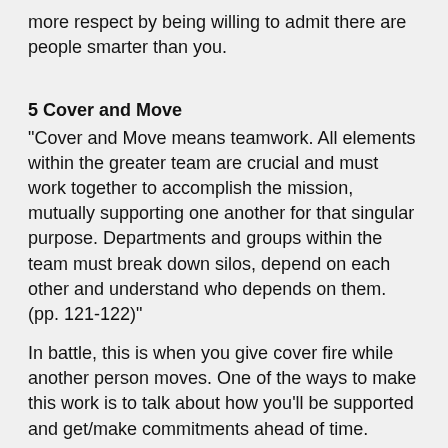more respect by being willing to admit there are people smarter than you.
5 Cover and Move
"Cover and Move means teamwork. All elements within the greater team are crucial and must work together to accomplish the mission, mutually supporting one another for that singular purpose. Departments and groups within the team must break down silos, depend on each other and understand who depends on them. (pp. 121-122)"
In battle, this is when you give cover fire while another person moves. One of the ways to make this work is to talk about how you'll be supported and get/make commitments ahead of time.
6 Simple
"Simplifying as much as possible is crucial to success. When plans and orders are too complicated, people may not understand them. And when things go wrong, and they